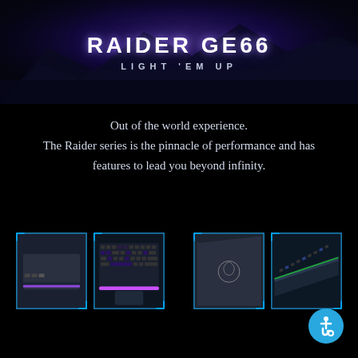[Figure (illustration): Hero banner with purple/blue nebula and mountain landscape background, MSI Raider GE66 branding]
RAIDER GE66
LIGHT 'EM UP
Out of the world experience.
The Raider series is the pinnacle of performance and has features to lead you beyond infinity.
[Figure (photo): Four product images of MSI Raider GE66 laptop showing different angles: side port view with RGB lighting, keyboard close-up with purple RGB glow, lid/back panel with MSI logo, keyboard close-up at angle]
[Figure (illustration): Blue circular accessibility icon button in bottom right corner]